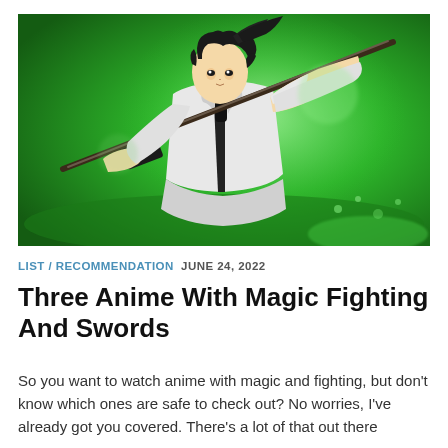[Figure (illustration): Anime character with dark hair wearing a white jacket, wielding a sword/staff diagonally across frame against a bright green glowing background]
LIST / RECOMMENDATION  JUNE 24, 2022
Three Anime With Magic Fighting And Swords
So you want to watch anime with magic and fighting, but don't know which ones are safe to check out? No worries, I've already got you covered. There's a lot of that out there